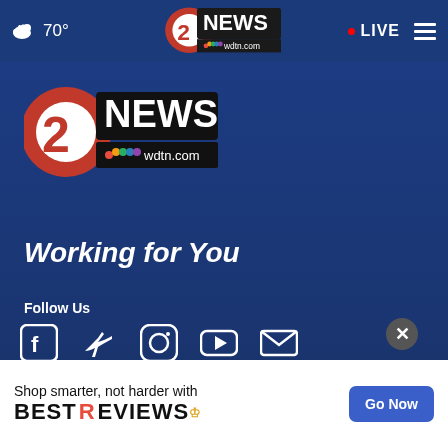☁ 70° | 2NEWS wdtn.com | • LIVE ≡
[Figure (logo): 2NEWS wdtn.com logo, large version on blue background]
Working for You
Follow Us
[Figure (illustration): Social media icons: Facebook, Twitter, Instagram, YouTube, Email]
News App
Weather App
[Figure (screenshot): App store download buttons for Apple App Store and Google Play, partially visible]
[Figure (infographic): Advertisement overlay: Shop smarter, not harder with BESTREVIEWS crown logo. Go Now button. Close (X) button.]